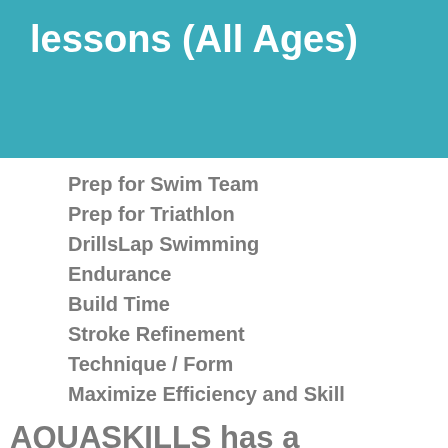lessons (All Ages)
Prep for Swim Team
Prep for Triathlon
DrillsLap Swimming
Endurance
Build Time
Stroke Refinement
Technique / Form
Maximize Efficiency and Skill
AQUASKILLS has a revolving enrollment
YOU CAN JOIN NOW!